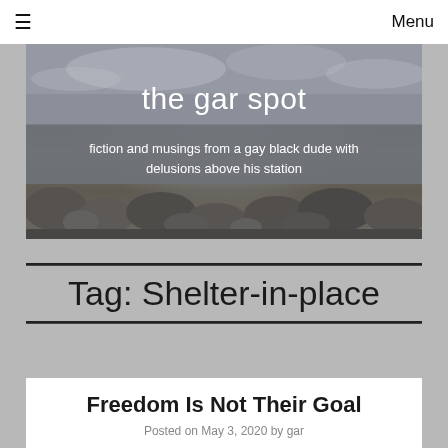☰  Menu
[Figure (photo): Hero banner image of a rocky shoreline with overcast sky and water, overlaid with blog title and subtitle text]
the gar spot
fiction and musings from a gay black dude with delusions above his station
Tag: Shelter-in-place
Freedom Is Not Their Goal
Posted on May 3, 2020 by gar